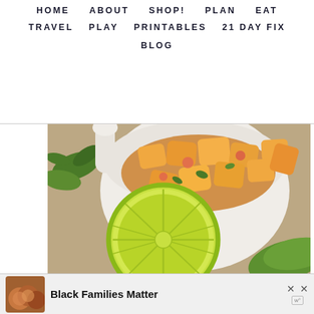HOME   ABOUT   SHOP!   PLAN   EAT
TRAVEL   PLAY   PRINTABLES   21 DAY FIX
BLOG
[Figure (photo): A white bowl filled with peach salsa (diced orange fruit with herbs), a halved lime in the foreground, green pepper and cilantro in the background on a stone surface.]
SPICY PEACH SALSA (21 DAY FIX AND WEIGHT WATCHERS APPROVED)
[Figure (photo): Advertisement banner: Black Families Matter with photo of smiling family, close button with X and Wellbeing logo.]